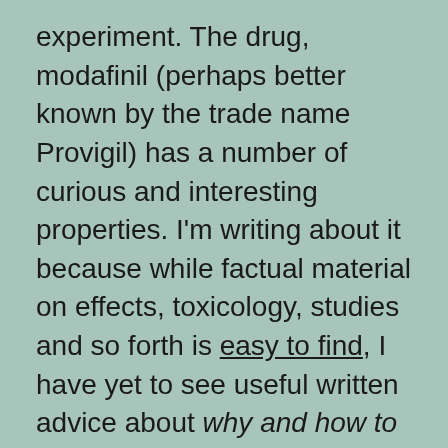experiment. The drug, modafinil (perhaps better known by the trade name Provigil) has a number of curious and interesting properties. I'm writing about it because while factual material on effects, toxicology, studies and so forth is easy to find, I have yet to see useful written advice about why and how to use the drug covering any but the narrowest medical applications.
Before I continue, a caveat that may save both your butt and mine. In the U.S., modafinil is a Schedule IV restricted drug, illegal to use without a prescription. I use it legally. I do not –